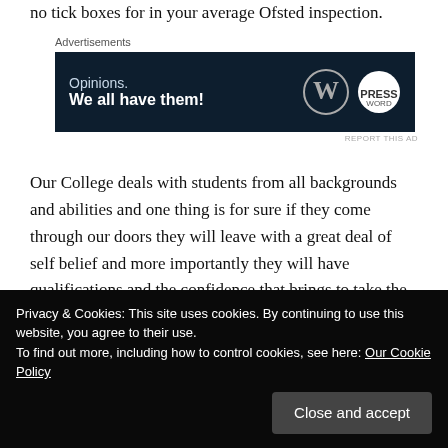no tick boxes for in your average Ofsted inspection.
[Figure (other): Advertisement banner with dark navy background. Text reads 'Opinions. We all have them!' with WordPress and PressWord logos on the right.]
Our College deals with students from all backgrounds and abilities and one thing is for sure if they come through our doors they will leave with a great deal of self belief and more importantly they will have qualifications and the confidence that brings to take the next step in life.
Privacy & Cookies: This site uses cookies. By continuing to use this website, you agree to their use.
To find out more, including how to control cookies, see here: Our Cookie Policy